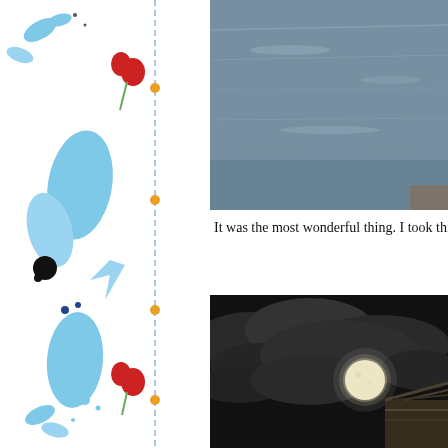[Figure (illustration): Decorative left border with blue floral/nature motifs, red heart-shaped flowers, blue leaves and petals, small dark dots, and vertical dashed blue line with orange dot markers]
[Figure (photo): Photograph of ocean/sea water surface, grayish-blue water with light reflections, taken during daytime]
It was the most wonderful thing. I took this in t
[Figure (photo): Nighttime photograph of a full moon glowing brightly through dark dramatic clouds, with part of a building or structure visible in the lower right corner]